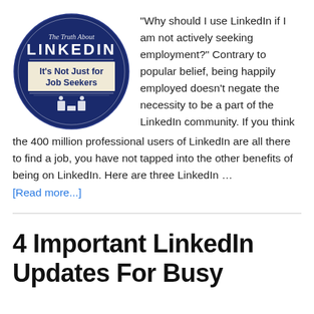[Figure (illustration): Dark navy circular badge/logo reading 'The Truth About LINKEDIN — It's Not Just for Job Seekers' with a LinkedIn icon at the bottom]
"Why should I use LinkedIn if I am not actively seeking employment?" Contrary to popular belief, being happily employed doesn't negate the necessity to be a part of the LinkedIn community. If you think the 400 million professional users of LinkedIn are all there to find a job, you have not tapped into the other benefits of being on LinkedIn. Here are three LinkedIn …
[Read more...]
4 Important LinkedIn Updates For Busy